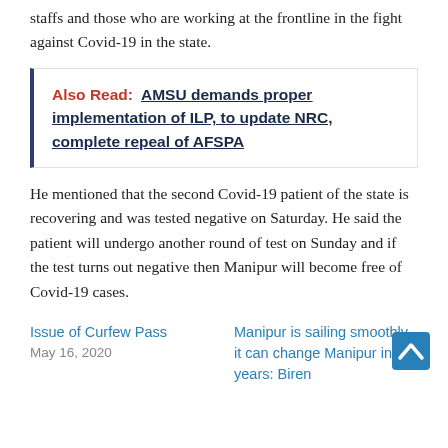staffs and those who are working at the frontline in the fight against Covid-19 in the state.
Also Read: AMSU demands proper implementation of ILP, to update NRC, complete repeal of AFSPA
He mentioned that the second Covid-19 patient of the state is recovering and was tested negative on Saturday. He said the patient will undergo another round of test on Sunday and if the test turns out negative then Manipur will become free of Covid-19 cases.
Issue of Curfew Pass
May 16, 2020
Manipur is sailing smoothly, it can change Manipur in 5 years: Biren